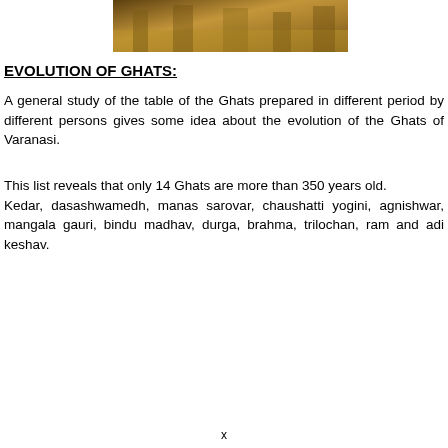[Figure (photo): A photograph showing Ghats, appears to be a wide rectangular image at the top of the page showing steps or architectural elements near water.]
EVOLUTION OF GHATS:
A general study of the table of the Ghats prepared in different period by different persons gives some idea about the evolution of the Ghats of Varanasi.
This list reveals that only 14 Ghats are more than 350 years old.
Kedar, dasashwamedh, manas sarovar, chaushatti yogini, agnishwar, mangala gauri, bindu madhav, durga, brahma, trilochan, ram and adi keshav.
x